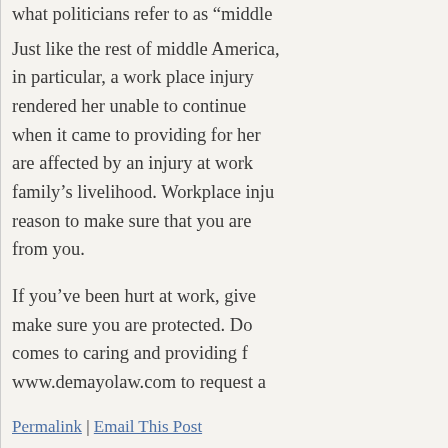what politicians refer to as 'middle...
Just like the rest of middle America, in particular, a work place injury rendered her unable to continue when it came to providing for her are affected by an injury at work family's livelihood. Workplace inju reason to make sure that you are from you.
If you've been hurt at work, give make sure you are protected. Do comes to caring and providing f www.demayolaw.com to request a
Permalink | Email This Post
Posted In: Uncategorized
NC Sweepstakes Mirrors W...
August 4, 2013, by Michael A. DeM...